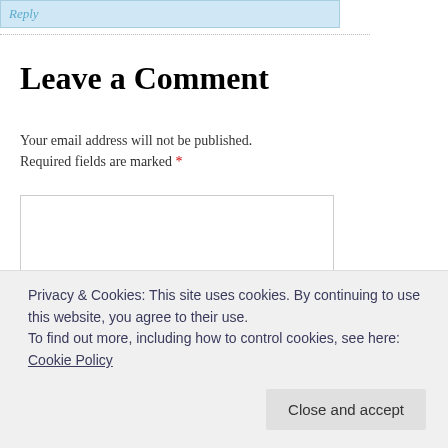Reply
Leave a Comment
Your email address will not be published. Required fields are marked *
[Figure (other): Empty comment text area input box]
Privacy & Cookies: This site uses cookies. By continuing to use this website, you agree to their use. To find out more, including how to control cookies, see here: Cookie Policy
Close and accept